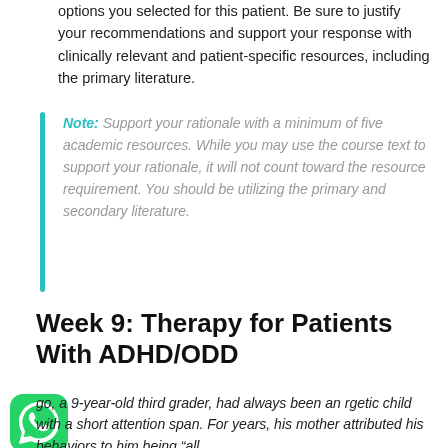options you selected for this patient. Be sure to justify your recommendations and support your response with clinically relevant and patient-specific resources, including the primary literature.
Note: Support your rationale with a minimum of five academic resources. While you may use the course text to support your rationale, it will not count toward the resource requirement. You should be utilizing the primary and secondary literature.
Week 9: Therapy for Patients With ADHD/ODD
go, a 9-year-old third grader, had always been an rgetic child with a short attention span. For years, his mother attributed his behaviors to him being "all